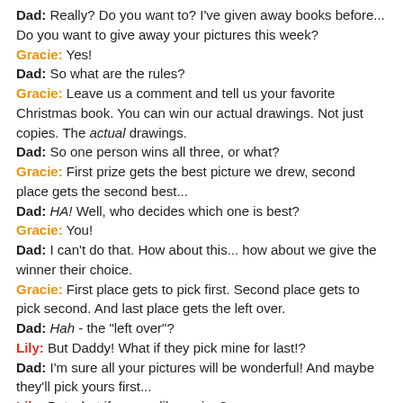Dad: Really?  Do you want to?  I've given away books before...  Do you want to give away your pictures this week?
Gracie:  Yes!
Dad:  So what are the rules?
Gracie:  Leave us a comment and tell us your favorite Christmas book.  You can win our actual drawings.  Not just copies.  The actual drawings.
Dad:  So one person wins all three, or what?
Gracie:  First prize gets the best picture we drew, second place gets the second best...
Dad:  HA!  Well, who decides which one is best?
Gracie:  You!
Dad:  I can't do that.  How about this...  how about we give the winner their choice.
Gracie:  First place gets to pick first.  Second place gets to pick second.  And last place gets the left over.
Dad:  Hah - the "left over"?
Lily:  But Daddy!  What if they pick mine for last!?
Dad:  I'm sure all your pictures will be wonderful!  And maybe they'll pick yours first...
Lily:  But what if no one likes mine?
Dad:  Okay, we won't do that.  We always want this to be fun.  Maybe we'll assign the pictures randomly.  We don't